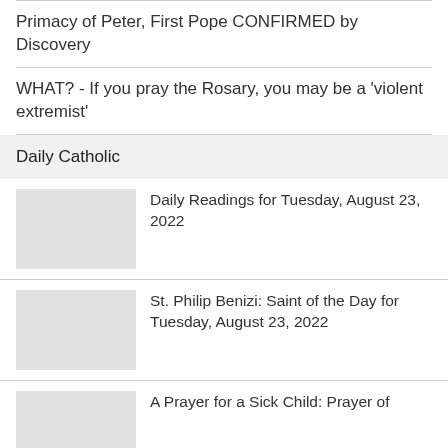Primacy of Peter, First Pope CONFIRMED by Discovery
WHAT? - If you pray the Rosary, you may be a 'violent extremist'
Daily Catholic
Daily Readings for Tuesday, August 23, 2022
St. Philip Benizi: Saint of the Day for Tuesday, August 23, 2022
A Prayer for a Sick Child: Prayer of